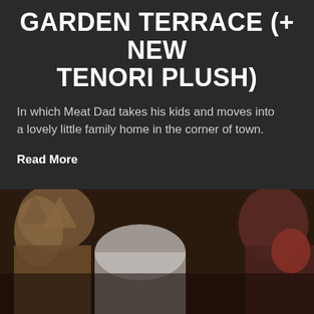GARDEN TERRACE (+ NEW TENORI PLUSH)
In which Meat Dad takes his kids and moves into a lovely little family home in the corner of town.
Read More
[Figure (photo): Background photo of Sumikko Gurashi plush toys on a dark surface, with a circular play button overlay showing a music note, and a number 5 badge visible]
SUMIKKO GURASHI: TONKATSU & EBI FURAI NO SHIPPO FAN BOOK